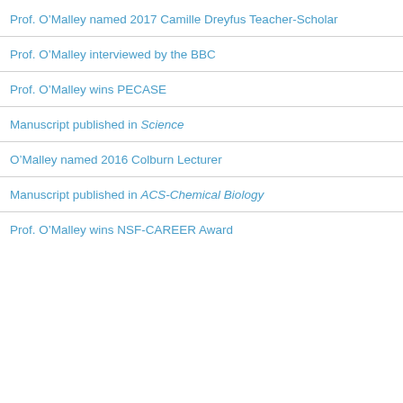Prof. O'Malley named 2017 Camille Dreyfus Teacher-Scholar
Prof. O'Malley interviewed by the BBC
Prof. O'Malley wins PECASE
Manuscript published in Science
O'Malley named 2016 Colburn Lecturer
Manuscript published in ACS-Chemical Biology
Prof. O'Malley wins NSF-CAREER Award